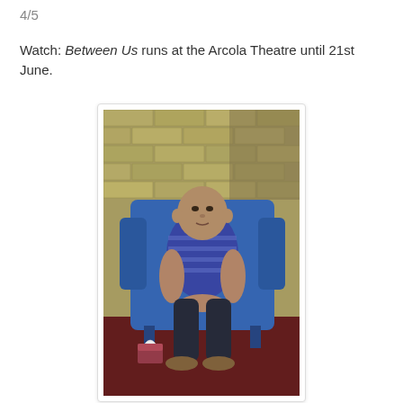4/5
Watch: Between Us runs at the Arcola Theatre until 21st June.
[Figure (photo): A man wearing a blue and white striped polo shirt sits in a blue armchair with his hands clasped, in front of a brick wall background. A tissue box sits on the floor beside the chair.]